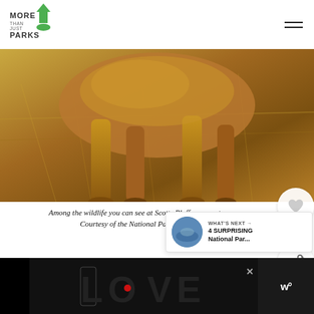[Figure (logo): More Than Just Parks logo with green arrowhead/shield icon]
[Figure (photo): Close-up photo of coyote legs and body walking through dry grass, warm golden/brown tones]
Among the wildlife you can see at Scotts Bluff are coyotes. Courtesy of the National Park Service
[Figure (infographic): Circular heart/like button, share button with count of 5]
[Figure (infographic): What's Next panel showing a thumbnail and text: WHAT'S NEXT → 4 SURPRISING National Par...]
[Figure (screenshot): Advertisement banner at bottom with LOVE text graphic and weather widget on right, black background]